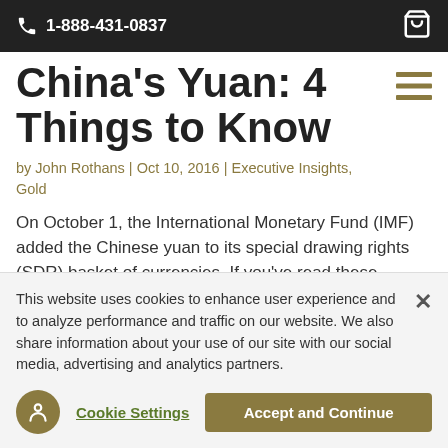1-888-431-0837
China's Yuan: 4 Things to Know
by John Rothans | Oct 10, 2016 | Executive Insights, Gold
On October 1, the International Monetary Fund (IMF) added the Chinese yuan to its special drawing rights (SDR) basket of currencies. If you've read these headlines, you likely have a
This website uses cookies to enhance user experience and to analyze performance and traffic on our website. We also share information about your use of our site with our social media, advertising and analytics partners.
Cookie Settings
Accept and Continue